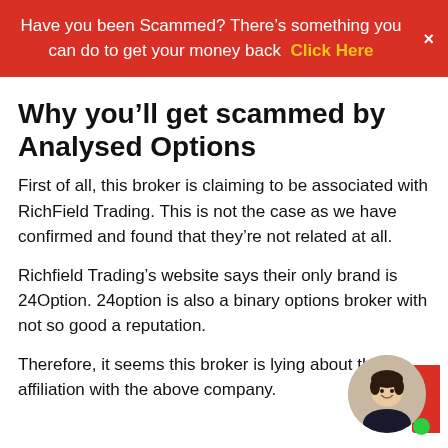Have you been Scammed? There's something you can do to get your money back  Click Here
Why you'll get scammed by Analysed Options
First of all, this broker is claiming to be associated with RichField Trading. This is not the case as we have confirmed and found that they're not related at all.
Richfield Trading's website says their only brand is 24Option. 24option is also a binary options broker with not so good a reputation.
Therefore, it seems this broker is lying about their affiliation with the above company.
Secondly, this broker is not regulated which is why they